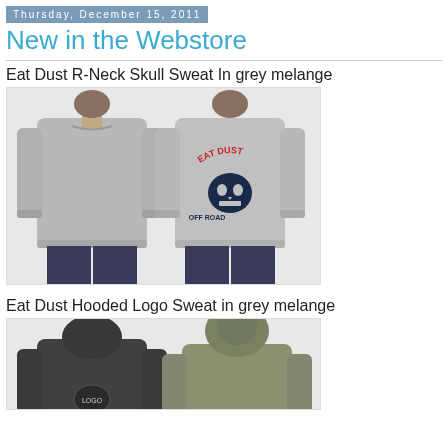Thursday, December 15, 2011
New in the Webstore
Eat Dust R-Neck Skull Sweat In grey melange
[Figure (photo): Two views of a grey melange crew-neck sweatshirt — front view on left showing plain grey sweatshirt, back view on right showing Eat Dust Off Road skull graphic in red and navy.]
Eat Dust Hooded Logo Sweat in grey melange
[Figure (photo): Two views of a grey melange hooded sweatshirt — back view on left showing dark hoodie with logo patch, back view on right showing olive/khaki hoodie with hood up.]